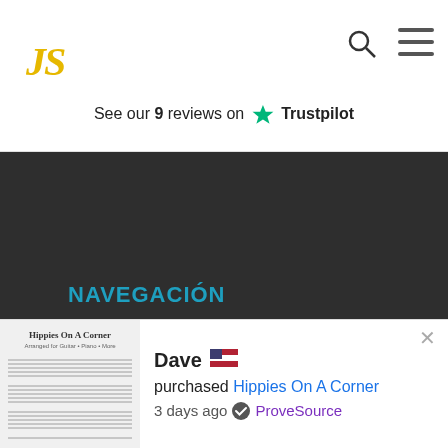JS
See our 9 reviews on Trustpilot
NAVEGACIÓN
Inicio
Transcriptciones
Músicos
Sobre
Contacto
Suscripciones
Login
Este sitio web utiliza cookies para garantizar que obtenga la mejor experiencia en nuestro sitio web.
Dave purchased Hippies On A Corner
3 days ago ProveSource